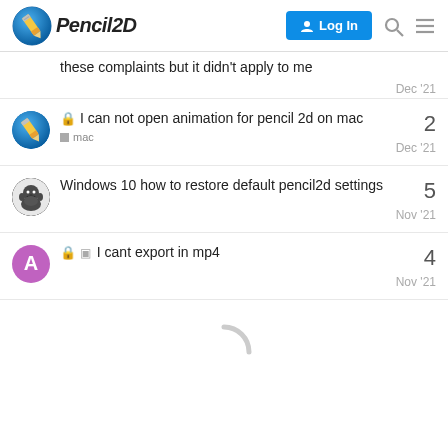Pencil2D | Log In
these complaints but it didn't apply to me
Dec '21
🔒 I can not open animation for pencil 2d on mac | 2 | Dec '21
mac
Windows 10 how to restore default pencil2d settings | 5 | Nov '21
🔒 ☑ I cant export in mp4 | 4 | Nov '21
[Figure (other): Loading spinner (circular arc, grey)]